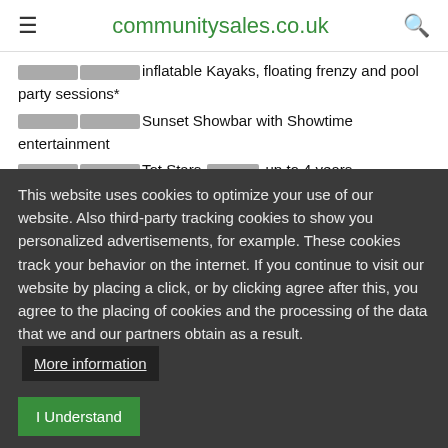≡   communitysales.co.uk   🔍
[bullets]inflatable Kayaks, floating frenzy and pool party sessions*
[bullets]Sunset Showbar with Showtime entertainment
[bullets]Tot Stars [blocks] up to 4 years
[bullets]Star Landers [blocks] up to 10 years
[bullets]Freestyle [blocks] 10[blocks]15s
[bullets]Coast Bar and restaurant with outdoor terrace
[bullets]Takeaway
[bullets]Costa coffee[blocks]
This website uses cookies to optimize your use of our website. Also third-party tracking cookies to show you personalized advertisements, for example. These cookies track your behavior on the internet. If you continue to visit our website by placing a click, or by clicking agree after this, you agree to the placing of cookies and the processing of the data that we and our partners obtain as a result.  More information
I Understand